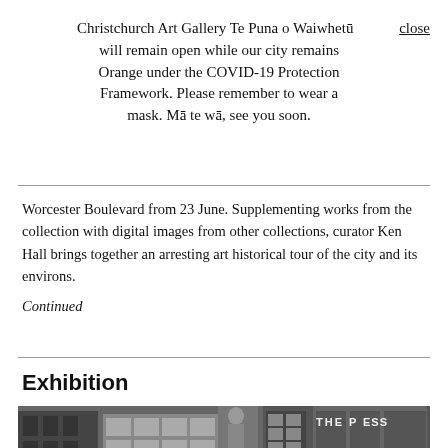Christchurch Art Gallery Te Puna o Waiwhetū will remain open while our city remains Orange under the COVID-19 Protection Framework. Please remember to wear a mask. Mā te wā, see you soon. [close]
Worcester Boulevard from 23 June. Supplementing works from the collection with digital images from other collections, curator Ken Hall brings together an arresting art historical tour of the city and its environs.
Continued
Exhibition
[Figure (photo): Black and white photograph of a city street scene showing historic multi-story buildings, one with 'THE PRESS' signage visible on the right side.]